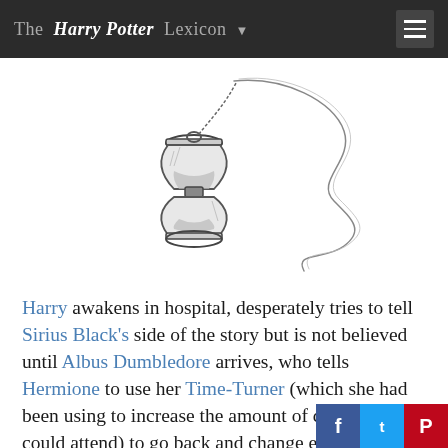The Harry Potter Lexicon
[Figure (illustration): An illustration of a Time-Turner hourglass on a chain with a swirling spiral string/chain attached to it, drawn in pencil sketch style.]
Harry awakens in hospital, desperately tries to tell Sirius Black's side of the story but is not believed until Albus Dumbledore arrives, who tells Hermione to use her Time-Turner (which she had been using to increase the amount of classes she could attend) to go back and change events to save Buckbeak and Black. First they rescue Buckbeak, then Harry rescues himself fr...